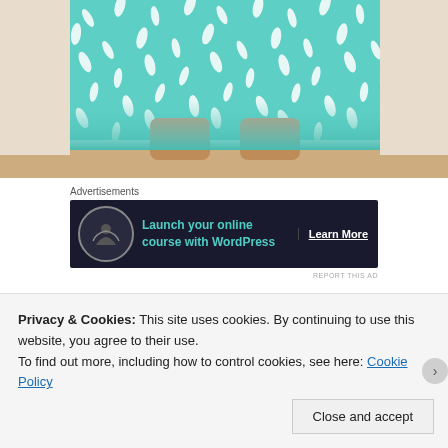[Figure (photo): Close-up photo of a child wearing a teal/mint green dress with white leaf/petal pattern. The lower portion of the dress and the child's legs are visible. Wooden floor visible at bottom.]
Advertisements
[Figure (other): Advertisement banner with dark background. Shows icon of person meditating under tree, text 'Launch your online course with WordPress', and 'Learn More' call to action button.]
REPORT THIS AD
A little peek at the back. I used coordinating Kam snaps
Privacy & Cookies: This site uses cookies. By continuing to use this website, you agree to their use.
To find out more, including how to control cookies, see here: Cookie Policy
Close and accept